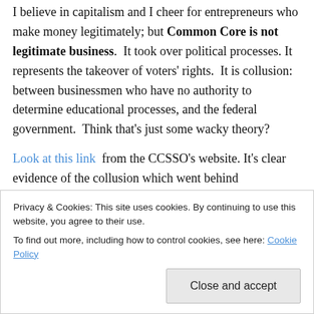I believe in capitalism and I cheer for entrepreneurs who make money legitimately; but Common Core is not legitimate business. It took over political processes. It represents the takeover of voters' rights. It is collusion: between businessmen who have no authority to determine educational processes, and the federal government. Think that's just some wacky theory?
Look at this link from the CCSSO's website. It's clear evidence of the collusion which went behind constitutional rights of states and which destroyed checks and balances, by setting education policy centrally. Only the feds
Privacy & Cookies: This site uses cookies. By continuing to use this website, you agree to their use.
To find out more, including how to control cookies, see here: Cookie Policy